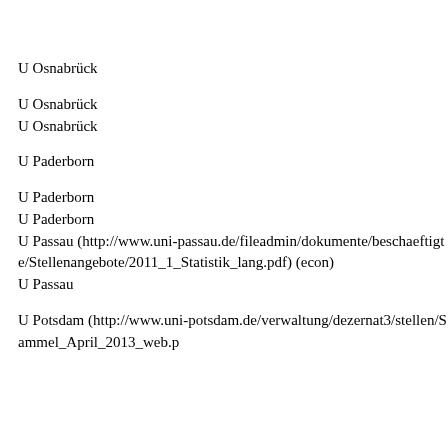U Osnabrück
U Osnabrück
U Osnabrück
U Paderborn
U Paderborn
U Paderborn
U Passau (http://www.uni-passau.de/fileadmin/dokumente/beschaeftigte/Stellenangebote/2011_1_Statistik_lang.pdf) (econ)
U Passau
U Potsdam (http://www.uni-potsdam.de/verwaltung/dezernat3/stellen/Sammel_April_2013_web.p